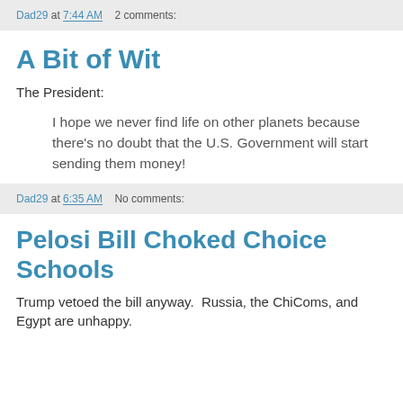Dad29 at 7:44 AM    2 comments:
A Bit of Wit
The President:
I hope we never find life on other planets because there's no doubt that the U.S. Government will start sending them money!
Dad29 at 6:35 AM    No comments:
Pelosi Bill Choked Choice Schools
Trump vetoed the bill anyway.  Russia, the ChiComs, and Egypt are unhappy.